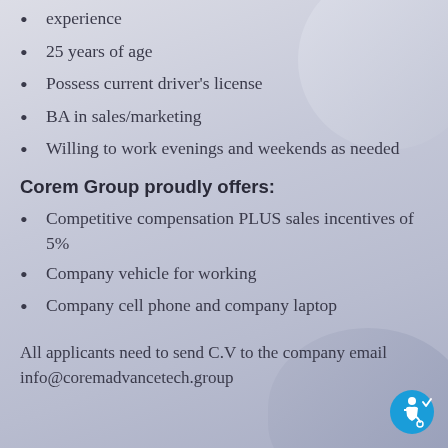experience
25 years of age
Possess current driver's license
BA in sales/marketing
Willing to work evenings and weekends as needed
Corem Group proudly offers:
Competitive compensation PLUS sales incentives of 5%
Company vehicle for working
Company cell phone and company laptop
All applicants need to send C.V to the company email info@coremadvancetech.group